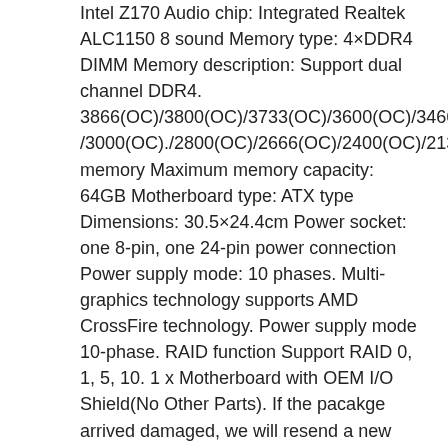Intel Z170 Audio chip: Integrated Realtek ALC1150 8 sound Memory type: 4×DDR4 DIMM Memory description: Support dual channel DDR4. 3866(OC)/3800(OC)/3733(OC)/3600(OC)/3466(OC)./3400(OC)/3333(OC)/3300(OC)/3200(OC) /3000(OC)./2800(OC)/2666(OC)/2400(OC)/2133(OC)MHz memory Maximum memory capacity: 64GB Motherboard type: ATX type Dimensions: 30.5×24.4cm Power socket: one 8-pin, one 24-pin power connection Power supply mode: 10 phases. Multi-graphics technology supports AMD CrossFire technology. Power supply mode 10-phase. RAID function Support RAID 0, 1, 5, 10. 1 x Motherboard with OEM I/O Shield(No Other Parts). If the pacakge arrived damaged, we will resend a new one to you, Please check the parcel carefully when you receive it. We are supplier of brand Desktop Computer Parts, our mainly products are motherboard, video cards. We have ASUS, DELL, HP, Lenovo, Supermicro, Gigabyte, Asrock, MSI, Acer, Intel Brand and so on. We only offer the best quality products! For Wholesale order, price is negotiable! We will